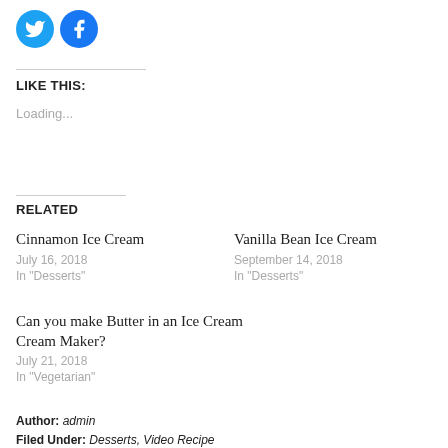[Figure (logo): Twitter and Facebook circular social share icons in blue]
LIKE THIS:
Loading...
RELATED
Cinnamon Ice Cream
July 16, 2018
In "Desserts"
Vanilla Bean Ice Cream
September 14, 2018
In "Desserts"
Can you make Butter in an Ice Cream Maker?
July 21, 2018
In "Vegetarian"
Author: admin
Filed Under: Desserts, Video Recipe